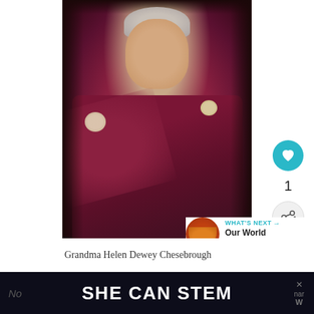[Figure (photo): Photograph of an elderly woman (Grandma Helen Dewey Chesebrough) wearing a dark red/maroon lace outfit with floral corsages, with grey curly hair and glasses, posed against a dark background.]
Grandma Helen Dewey Chesebrough
[Figure (screenshot): UI elements: teal heart/like button, count of 1, share button with plus sign; and a 'WHAT'S NEXT' panel showing 'Our World Food Guides' with a food thumbnail.]
SHE CAN STEM